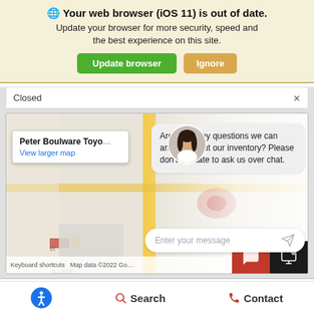🌐 Your web browser (iOS 11) is out of date. Update your browser for more security, speed and the best experience on this site.
[Figure (screenshot): Browser update warning banner with 'Update browser' (green) and 'Ignore' (yellow/tan) buttons, a 'Closed' dropdown bar, a Google Maps embed showing Peter Boulware Toyota with a chat overlay asking 'Are there any questions we can answer about our inventory? Please don't hesitate to ask us over chat.' and a message input box, plus red and black chat buttons at the bottom.]
Peter Boulware Toyo
View larger map
Are there any questions we can answer about our inventory? Please don't hesitate to ask us over chat.
Enter your message
Keyboard shortcuts  Map data ©2022 Go
Search
Contact